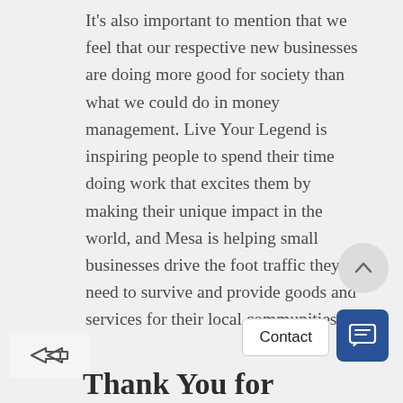It's also important to mention that we feel that our respective new businesses are doing more good for society than what we could do in money management. Live Your Legend is inspiring people to spend their time doing work that excites them by making their unique impact in the world, and Mesa is helping small businesses drive the foot traffic they need to survive and provide goods and services for their local communities.
Thank You for